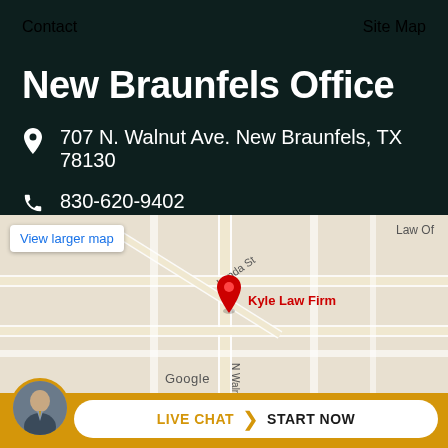Contact    Site Map
New Braunfels Office
707 N. Walnut Ave. New Braunfels, TX 78130
830-620-9402
[Figure (map): Google Maps embed showing Kyle Law Firm location at 707 N. Walnut Ave, New Braunfels TX, with red pin marker and street view including Landa St. 'View larger map' button visible in top left.]
LIVE CHAT  START NOW